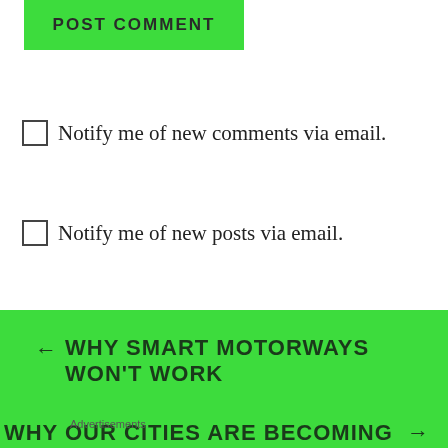[Figure (screenshot): Green POST COMMENT button]
Notify me of new comments via email.
Notify me of new posts via email.
← WHY SMART MOTORWAYS WON'T WORK
WHY OUR CITIES ARE BECOMING INSUFFERABLE →
Advertisements
[Figure (screenshot): WordPress.com advertisement banner with Start Today button]